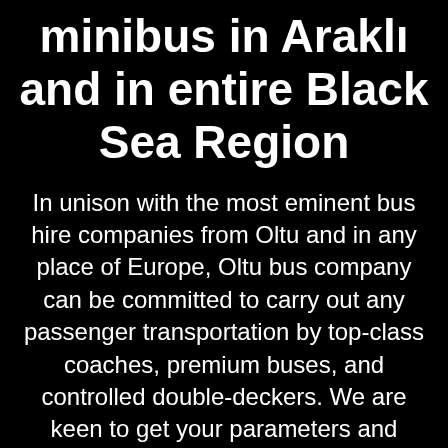minibus in Araklı and in entire Black Sea Region
In unison with the most eminent bus hire companies from Oltu and in any place of Europe, Oltu bus company can be committed to carry out any passenger transportation by top-class coaches, premium buses, and controlled double-deckers. We are keen to get your parameters and answer all